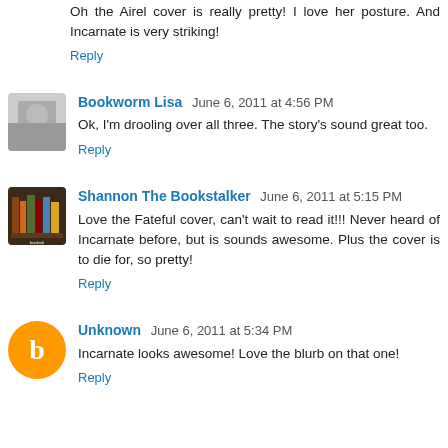Oh the Airel cover is really pretty! I love her posture. And Incarnate is very striking!
Reply
Bookworm Lisa  June 6, 2011 at 4:56 PM
Ok, I'm drooling over all three. The story's sound great too.
Reply
Shannon The Bookstalker  June 6, 2011 at 5:15 PM
Love the Fateful cover, can't wait to read it!!! Never heard of Incarnate before, but is sounds awesome. Plus the cover is to die for, so pretty!
Reply
Unknown  June 6, 2011 at 5:34 PM
Incarnate looks awesome! Love the blurb on that one!
Reply